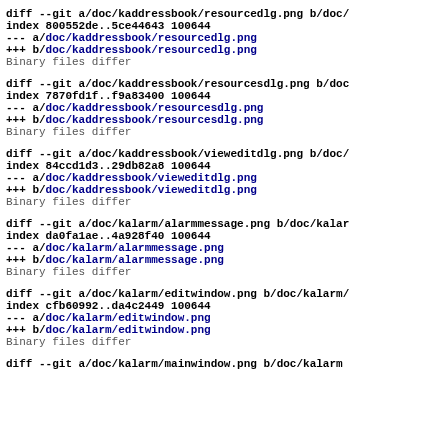diff --git a/doc/kaddressbook/resourcedlg.png b/doc/
index 800552de..5ce44643 100644
--- a/doc/kaddressbook/resourcedlg.png
+++ b/doc/kaddressbook/resourcedlg.png
Binary files differ
diff --git a/doc/kaddressbook/resourcesdlg.png b/doc
index 7870fd1f..f9a83400 100644
--- a/doc/kaddressbook/resourcesdlg.png
+++ b/doc/kaddressbook/resourcesdlg.png
Binary files differ
diff --git a/doc/kaddressbook/vieweditdlg.png b/doc/
index 84ccd1d3..29db82a8 100644
--- a/doc/kaddressbook/vieweditdlg.png
+++ b/doc/kaddressbook/vieweditdlg.png
Binary files differ
diff --git a/doc/kalarm/alarmmessage.png b/doc/kalar
index da0fa1ae..4a928f40 100644
--- a/doc/kalarm/alarmmessage.png
+++ b/doc/kalarm/alarmmessage.png
Binary files differ
diff --git a/doc/kalarm/editwindow.png b/doc/kalarm/
index cfb60992..da4c2449 100644
--- a/doc/kalarm/editwindow.png
+++ b/doc/kalarm/editwindow.png
Binary files differ
diff --git a/doc/kalarm/mainwindow.png b/doc/kalarm